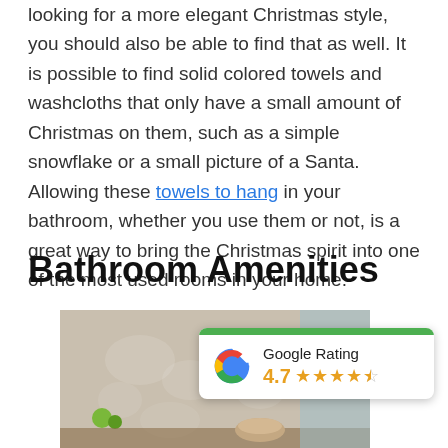looking for a more elegant Christmas style, you should also be able to find that as well. It is possible to find solid colored towels and washcloths that only have a small amount of Christmas on them, such as a simple snowflake or a small picture of a Santa. Allowing these towels to hang in your bathroom, whether you use them or not, is a great way to bring the Christmas spirit into one of the most used rooms in your home.
Bathroom Amenities
[Figure (photo): Bathroom interior photo with decorative wall texture and a Google Rating overlay card showing 4.7 stars]